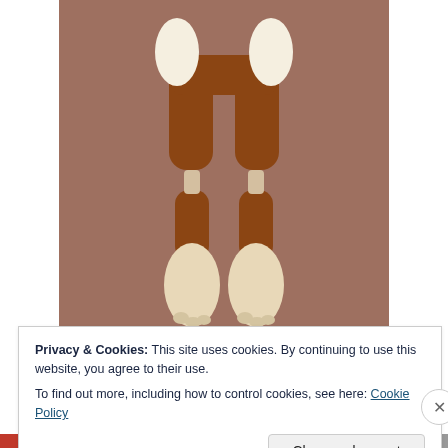[Figure (photo): Photograph of a Darwin-core polymer clay body figure — a brown clay humanoid mannequin torso and legs with cream/white hands and feet, photographed against a warm brown background.]
Darwin-core polymer clay body
Privacy & Cookies: This site uses cookies. By continuing to use this website, you agree to their use.
To find out more, including how to control cookies, see here: Cookie Policy